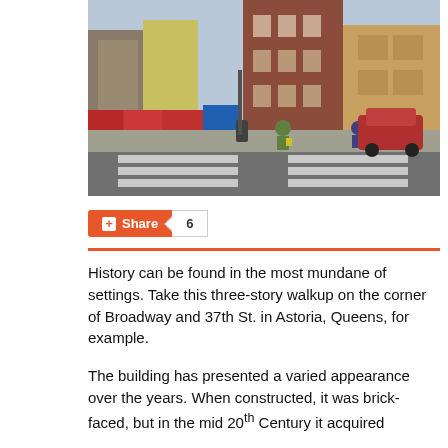[Figure (photo): Street-level photograph of the corner of Broadway and 37th St. in Astoria, Queens, showing a three-story brick walkup building. The scene includes storefronts, pedestrians crossing the street, a red SUV, and a crosswalk in the foreground.]
Share 6
History can be found in the most mundane of settings. Take this three-story walkup on the corner of Broadway and 37th St. in Astoria, Queens, for example.
The building has presented a varied appearance over the years. When constructed, it was brick-faced, but in the mid 20th Century it acquired